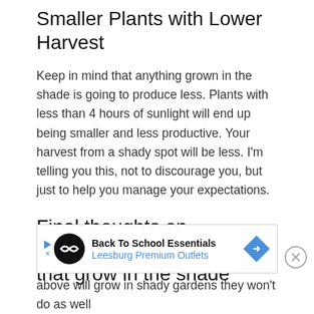Smaller Plants with Lower Harvest
Keep in mind that anything grown in the shade is going to produce less. Plants with less than 4 hours of sunlight will end up being smaller and less productive. Your harvest from a shady spot will be less. I'm telling you this, not to discourage you, but just to help you manage your expectations.
Final thoughts on vegetables that grow in the shade
[Figure (infographic): Advertisement banner for Back To School Essentials at Leesburg Premium Outlets with logo, play button, and directional arrow icon]
even though all of the vegetables I listed above will grow in shady gardens they won't do as well